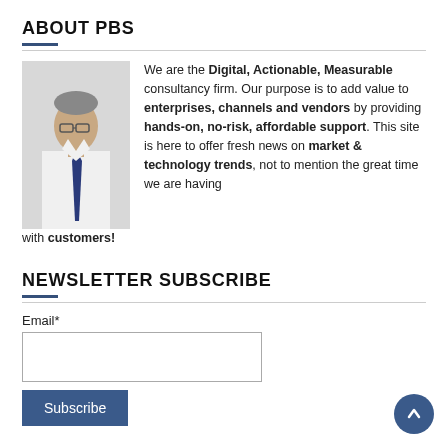ABOUT PBS
[Figure (photo): Photo of a man in a white shirt and dark tie, wearing glasses, against a light background.]
We are the Digital, Actionable, Measurable consultancy firm. Our purpose is to add value to enterprises, channels and vendors by providing hands-on, no-risk, affordable support. This site is here to offer fresh news on market & technology trends, not to mention the great time we are having with customers!
NEWSLETTER SUBSCRIBE
Email*